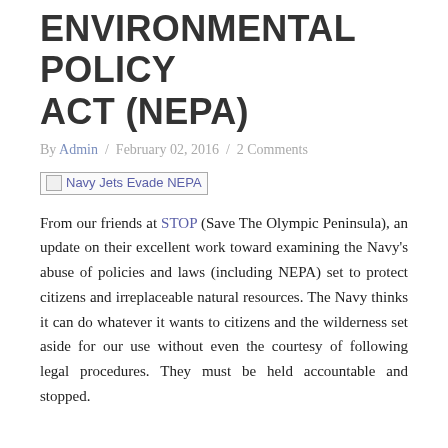ENVIRONMENTAL POLICY ACT (NEPA)
By Admin / February 02, 2016 / 2 Comments
[Figure (photo): Broken image placeholder labeled 'Navy Jets Evade NEPA']
From our friends at STOP (Save The Olympic Peninsula), an update on their excellent work toward examining the Navy's abuse of policies and laws (including NEPA) set to protect citizens and irreplaceable natural resources. The Navy thinks it can do whatever it wants to citizens and the wilderness set aside for our use without even the courtesy of following legal procedures. They must be held accountable and stopped.